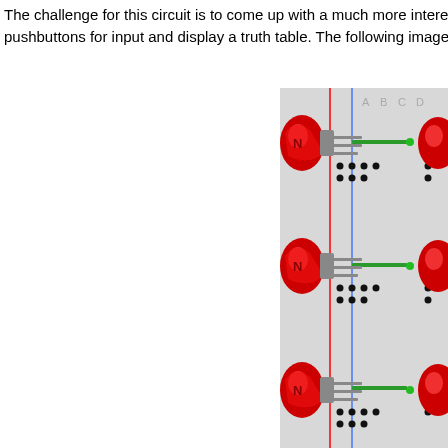The challenge for this circuit is to come up with a much more interes pushbuttons for input and display a truth table. The following image sho
[Figure (circuit-diagram): Partial view of an electronic breadboard or circuit panel showing three red LEDs on the left side, connected via gray wires/traces to a grid of connection points. A blue vertical line is visible, along with green horizontal wire segments. Column labels A, B, C, D are visible at the top right. The image is cropped on the right side.]